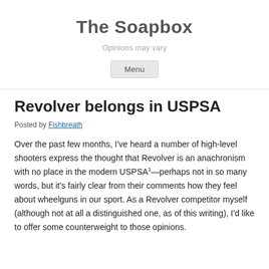The Soapbox
Opinions may vary
Menu
Revolver belongs in USPSA
Posted by Fishbreath
Over the past few months, I've heard a number of high-level shooters express the thought that Revolver is an anachronism with no place in the modern USPSA¹—perhaps not in so many words, but it's fairly clear from their comments how they feel about wheelguns in our sport. As a Revolver competitor myself (although not at all a distinguished one, as of this writing), I'd like to offer some counterweight to those opinions.